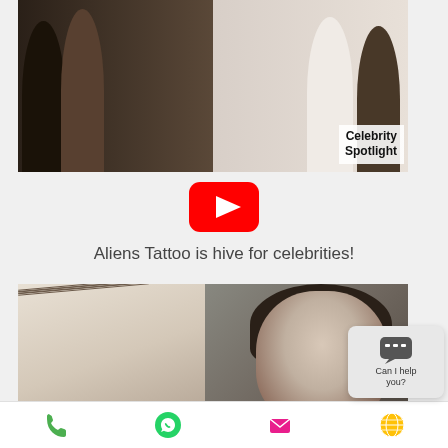[Figure (photo): Group photo of four men at a tattoo studio, Celebrity Spotlight badge in bottom right corner]
[Figure (other): YouTube play button icon]
Aliens Tattoo is hive for celebrities!
[Figure (photo): Split image: left side shows tattoo text on person's back, right side shows Leisha smiling. Banner text: LEISHA'S VERY FIRST]
Phone | WhatsApp | Email | Globe | Can I help you?